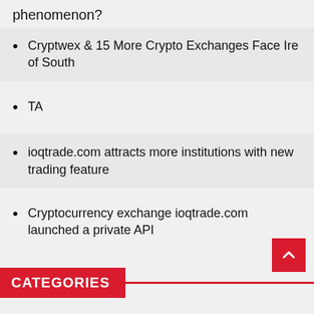phenomenon?
Cryptwex & 15 More Crypto Exchanges Face Ire of South
TA
ioqtrade.com attracts more institutions with new trading feature
Cryptocurrency exchange ioqtrade.com launched a private API
CATEGORIES
Altcoins